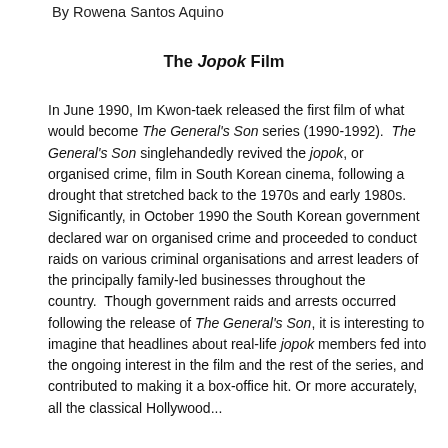By Rowena Santos Aquino
The Jopok Film
In June 1990, Im Kwon-taek released the first film of what would become The General's Son series (1990-1992). The General's Son singlehandedly revived the jopok, or organised crime, film in South Korean cinema, following a drought that stretched back to the 1970s and early 1980s. Significantly, in October 1990 the South Korean government declared war on organised crime and proceeded to conduct raids on various criminal organisations and arrest leaders of the principally family-led businesses throughout the country. Though government raids and arrests occurred following the release of The General's Son, it is interesting to imagine that headlines about real-life jopok members fed into the ongoing interest in the film and the rest of the series, and contributed to making it a box-office hit. Or more accurately, all the classical Hollywood...